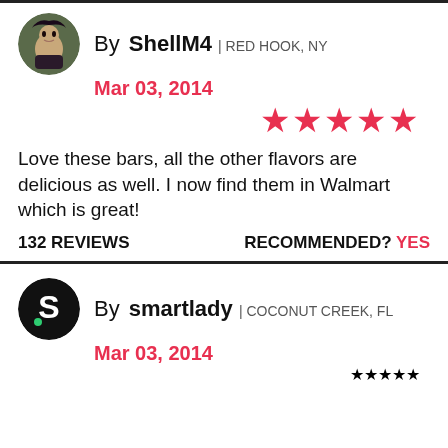By ShellM4 | RED HOOK, NY
Mar 03, 2014
[Figure (other): 5 red stars rating]
Love these bars, all the other flavors are delicious as well. I now find them in Walmart which is great!
132 REVIEWS    RECOMMENDED? YES
By smartlady | COCONUT CREEK, FL
Mar 03, 2014
[Figure (other): 5 red stars rating]